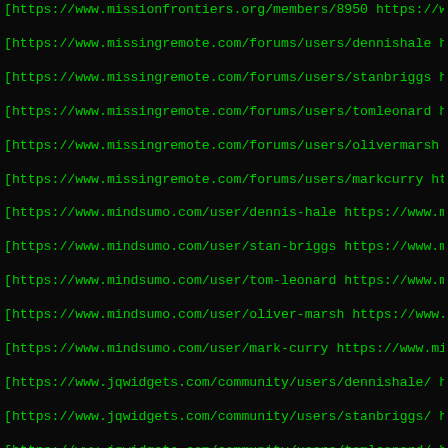List of URLs in monospace terminal style including missionfigrontiers.org, missingremote.com, mindsumo.com, jqwidgets.com, joomlathat.com, jibonpata.com, mrclarksdesigns.builderspot.com